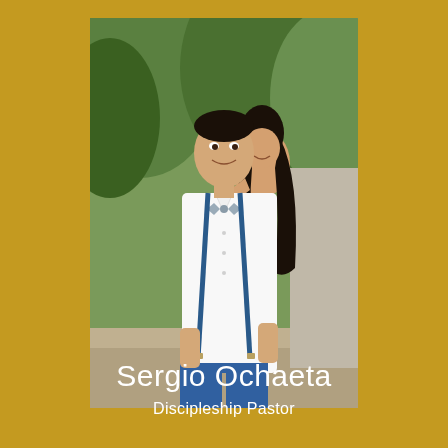[Figure (photo): Couple photo: a man wearing blue pants, blue suspenders, white shirt and bow tie, smiling at the camera, with a woman behind him in a white top with dark curly hair, smiling. Outdoor setting with green trees in the background.]
Sergio Ochaeta
Discipleship Pastor